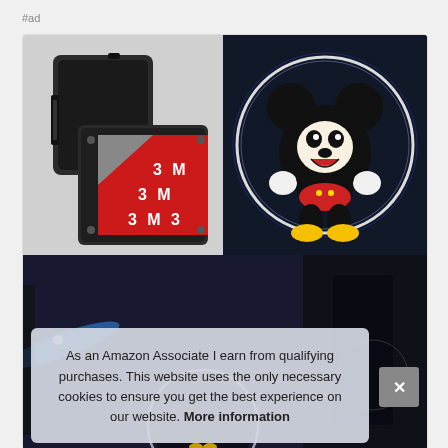#ad
[Figure (photo): Product photo showing a car door projector device with 3M adhesive tape backing (red peel sticker labeled '3M' multiple times), alongside a Disney Mickey Mouse glowing logo light projection shown on a dark background with a white circular halo]
[Figure (photo): Dark bottom strip showing a car door environment with a glowing circular Disney Mickey Mouse logo projector light in action, with blue/white light streak effect]
As an Amazon Associate I earn from qualifying purchases. This website uses the only necessary cookies to ensure you get the best experience on our website. More information